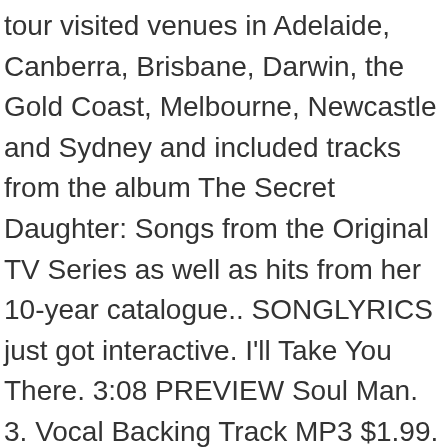tour visited venues in Adelaide, Canberra, Brisbane, Darwin, the Gold Coast, Melbourne, Newcastle and Sydney and included tracks from the album The Secret Daughter: Songs from the Original TV Series as well as hits from her 10-year catalogue.. SONGLYRICS just got interactive. I'll Take You There. 3:08 PREVIEW Soul Man. 3. Vocal Backing Track MP3 $1.99. Jessica Mauboy. Komentarze Dodaj komentarz {{ comment.time }} {{ comment.author }} Utwory na albumie Beautiful. 101. Jessica Mauboy - I Can't Help Myself (Sugar Pie, Honey Bunch) (Letras y canción para escuchar) - Sugar pie, honey bunch / You know that I love you / I can't help myself / I love you and nobody else / Oh, in and out my life / You come and you go / 4:05 PREVIEW I'll Take You There. 2. Check out I Can't Help Myself (Sugar Pie, Honey Bunch) by